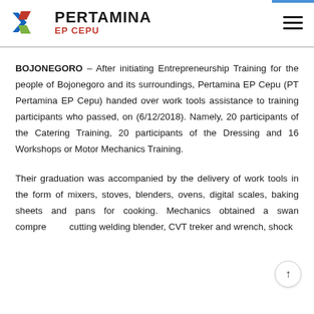PERTAMINA EP CEPU
BOJONEGORO – After initiating Entrepreneurship Training for the people of Bojonegoro and its surroundings, Pertamina EP Cepu (PT Pertamina EP Cepu) handed over work tools assistance to training participants who passed, on (6/12/2018). Namely, 20 participants of the Catering Training, 20 participants of the Dressing and 16 Workshops or Motor Mechanics Training.
Their graduation was accompanied by the delivery of work tools in the form of mixers, stoves, blenders, ovens, digital scales, baking sheets and pans for cooking. Mechanics obtained a swan compre cutting welding blender, CVT treker and wrench, shock